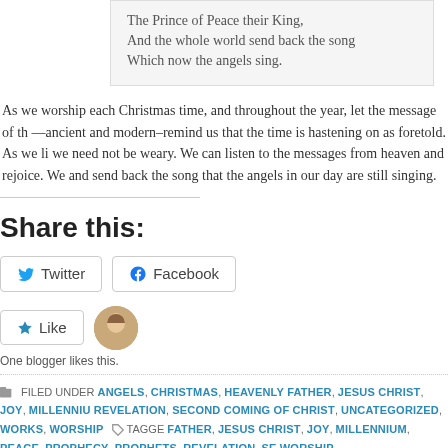The Prince of Peace their King,
And the whole world send back the song
Which now the angels sing.
As we worship each Christmas time, and throughout the year, let the message of th—ancient and modern—remind us that the time is hastening on as foretold. As we li we need not be weary. We can listen to the messages from heaven and rejoice. We and send back the song that the angels in our day are still singing.
Share this:
Twitter  Facebook
Like  One blogger likes this.
FILED UNDER ANGELS, CHRISTMAS, HEAVENLY FATHER, JESUS CHRIST, JOY, MILLENNIU REVELATION, SECOND COMING OF CHRIST, UNCATEGORIZED, WORKS, WORSHIP  TAGGE FATHER, JESUS CHRIST, JOY, MILLENNIUM, PEACE, PROPHECY, PROPHETS, REVELATION, SE WORSHIP